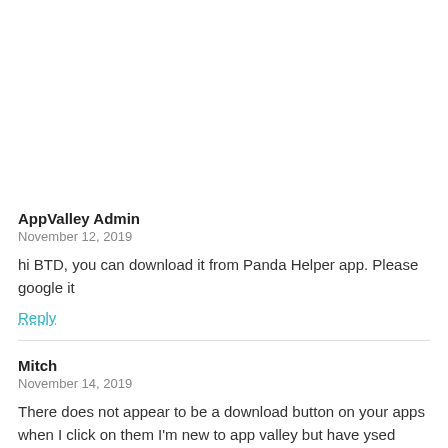AppValley Admin
November 12, 2019
hi BTD, you can download it from Panda Helper app. Please google it
Reply
Mitch
November 14, 2019
There does not appear to be a download button on your apps when I click on them I'm new to app valley but have ysed other apps similar to this before I cant figure out how to actually download the apps.